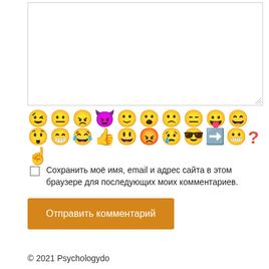[Figure (screenshot): Text area input box with resize handle at bottom right]
[Figure (illustration): Row of emoji icons: winking face, neutral face, angry face, devil face, slightly smiling, surprised, sad, expressionless, tongue out, smiling eyes, surprised, green grinning, laughing with tears, thumbs up, grinning; second row: red angry, crying, sunglasses, arrow right, grimacing, question mark, point up finger]
Сохранить моё имя, email и адрес сайта в этом браузере для последующих моих комментариев.
Отправить комментарий
© 2021 Psychologydo